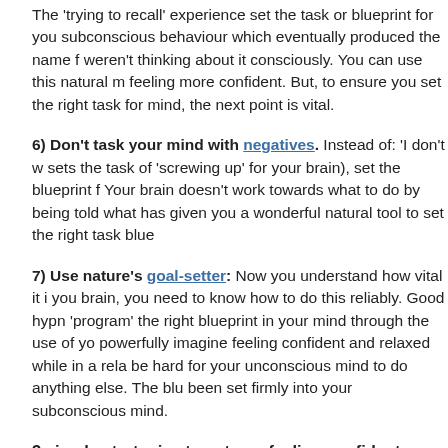The 'trying to recall' experience set the task or blueprint for you subconscious behaviour which eventually produced the name f weren't thinking about it consciously. You can use this natural m feeling more confident. But, to ensure you set the right task for mind, the next point is vital.
6) Don't task your mind with negatives. Instead of: 'I don't w sets the task of 'screwing up' for your brain), set the blueprint f Your brain doesn't work towards what to do by being told what has given you a wonderful natural tool to set the right task blue
7) Use nature's goal-setter: Now you understand how vital it i you brain, you need to know how to do this reliably. Good hypn 'program' the right blueprint in your mind through the use of yo powerfully imagine feeling confident and relaxed while in a rela be hard for your unconscious mind to do anything else. The blu been set firmly into your subconscious mind.
3 simple strategies to get you feeling confident quickly:
1) Think specifically of the time/place/situation you want to fe